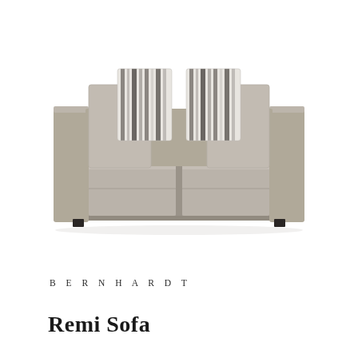[Figure (photo): A modern Bernhardt Remi Sofa upholstered in taupe/grey fabric with two seat cushions, wide track arms, low profile base with small dark feet. Four decorative pillows are shown: two large square taupe pillows and two striped accent pillows with vertical grey/white/charcoal stripes, arranged on the back of the sofa.]
BERNHARDT
Remi Sofa